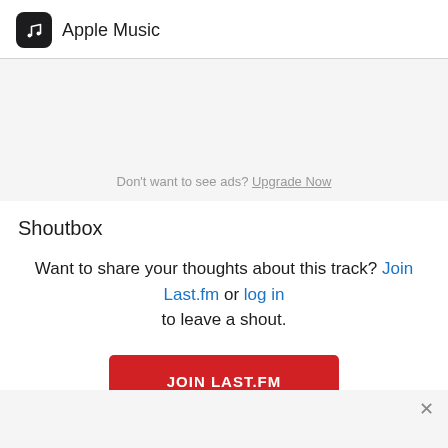Apple Music
[Figure (screenshot): Ad banner area with gray background and upgrade prompt text]
Don't want to see ads? Upgrade Now
Shoutbox
Want to share your thoughts about this track? Join Last.fm or log in to leave a shout.
JOIN LAST.FM